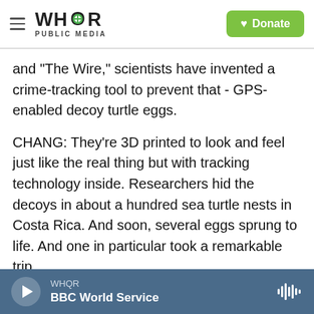[Figure (logo): WHQR Public Media logo with hamburger menu and green Donate button]
and "The Wire," scientists have invented a crime-tracking tool to prevent that - GPS-enabled decoy turtle eggs.
CHANG: They're 3D printed to look and feel just like the real thing but with tracking technology inside. Researchers hid the decoys in about a hundred sea turtle nests in Costa Rica. And soon, several eggs sprung to life. And one in particular took a remarkable trip.
HELEN PHEASEY: I deployed it on a Saturday night. Nothing happened. Nothing happened. I said OK.
WHQR — BBC World Service